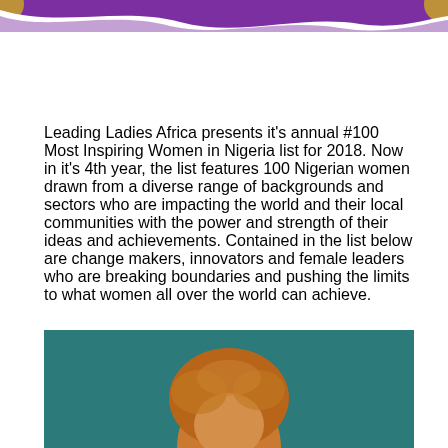[Figure (illustration): Purple and white decorative wave banner at the top of the page]
Leading Ladies Africa presents it's annual #100 Most Inspiring Women in Nigeria list for 2018. Now in it's 4th year, the list features 100 Nigerian women drawn from a diverse range of backgrounds and sectors who are impacting the world and their local communities with the power and strength of their ideas and achievements. Contained in the list below are change makers, innovators and female leaders who are breaking boundaries and pushing the limits to what women all over the world can achieve.
[Figure (photo): Photo of a person with curly/afro hair against a teal background, cropped at the bottom of the page]